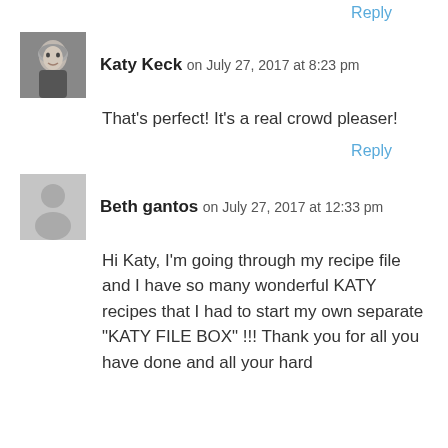Reply
Katy Keck on July 27, 2017 at 8:23 pm
That's perfect! It's a real crowd pleaser!
Reply
Beth gantos on July 27, 2017 at 12:33 pm
Hi Katy, I'm going through my recipe file and I have so many wonderful KATY recipes that I had to start my own separate "KATY FILE BOX" !!! Thank you for all you have done and all your hard